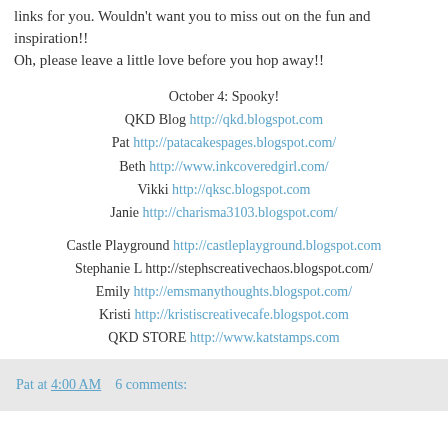links for you. Wouldn't want you to miss out on the fun and inspiration!! Oh, please leave a little love before you hop away!!
October 4: Spooky!
QKD Blog http://qkd.blogspot.com
Pat http://patacakespages.blogspot.com/
Beth http://www.inkcoveredgirl.com/
Vikki http://qksc.blogspot.com
Janie http://charisma3103.blogspot.com/
Castle Playground http://castleplayground.blogspot.com
Stephanie L http://stephscreativechaos.blogspot.com/
Emily http://emsmanythoughts.blogspot.com/
Kristi http://kristiscreativecafe.blogspot.com
QKD STORE http://www.katstamps.com
Pat at 4:00 AM    6 comments: